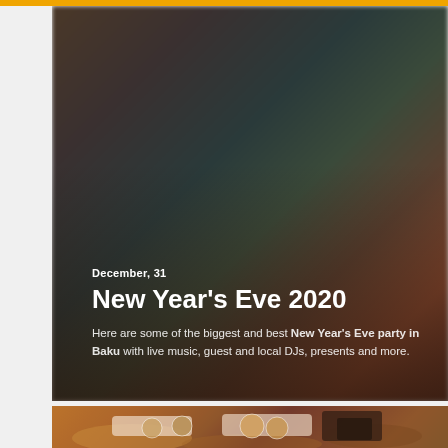[Figure (photo): Blurred dark bokeh background photo of a party venue, overlaid with event text: date 'December, 31', title 'New Year's Eve 2020', and description text about New Year's Eve party in Baku]
New Year's Eve 2020
December, 31
Here are some of the biggest and best New Year's Eve party in Baku with live music, guest and local DJs, presents and more.
[Figure (photo): Partial photo of sushi rolls on a white plate with a small bowl of soy sauce on a wooden surface]